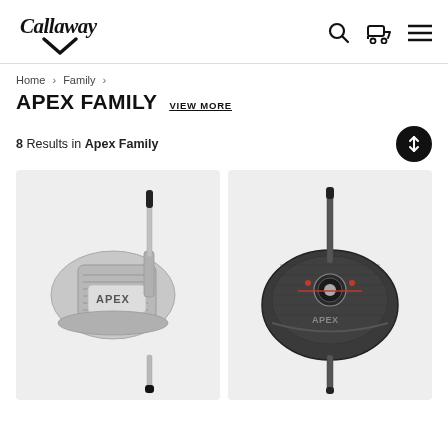Callaway Golf header with logo, search, cart, and menu icons
Home > Family >
APEX FAMILY VIEW MORE
8 Results in Apex Family
[Figure (photo): Callaway Apex iron golf club, silver/chrome finish, face-on view]
[Figure (photo): Callaway Apex hybrid golf club, dark grey/black finish, top-down view]